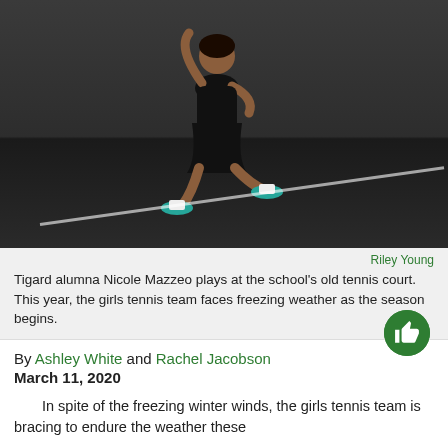[Figure (photo): Tigard alumna Nicole Mazzeo playing tennis on the school's old tennis court, running mid-stride in black athletic outfit and teal sneakers, with spectators behind a chain-link fence in the background.]
Riley Young
Tigard alumna Nicole Mazzeo plays at the school's old tennis court. This year, the girls tennis team faces freezing weather as the season begins.
By Ashley White and Rachel Jacobson
March 11, 2020
In spite of the freezing winter winds, the girls tennis team is bracing to endure the weather these